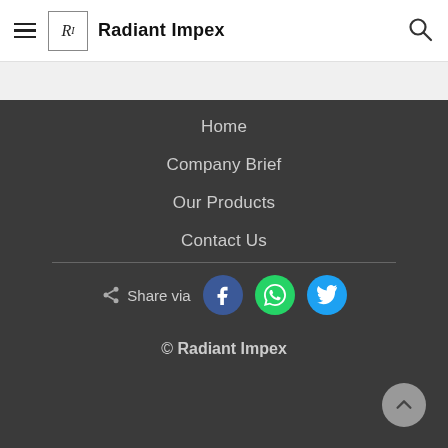Radiant Impex
Home
Company Brief
Our Products
Contact Us
Share via
© Radiant Impex